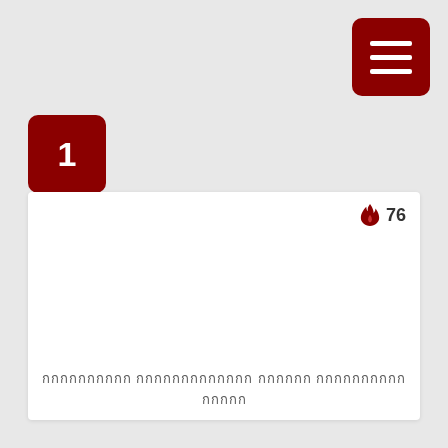[Figure (infographic): Dark red rounded square menu button with three white horizontal bars (hamburger icon) in top right corner]
[Figure (infographic): Dark red rounded square badge with white number 1 in it, positioned top left area]
[Figure (infographic): White content card with fire icon and number 76 in top right, and Thai script text at the bottom]